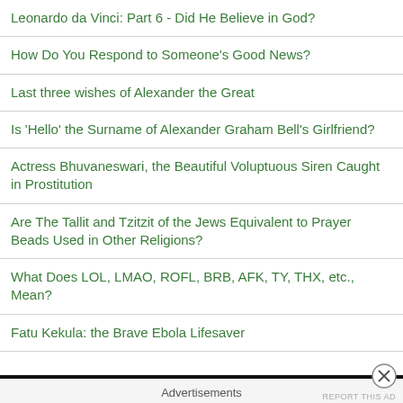Leonardo da Vinci: Part 6 - Did He Believe in God?
How Do You Respond to Someone's Good News?
Last three wishes of Alexander the Great
Is 'Hello' the Surname of Alexander Graham Bell's Girlfriend?
Actress Bhuvaneswari, the Beautiful Voluptuous Siren Caught in Prostitution
Are The Tallit and Tzitzit of the Jews Equivalent to Prayer Beads Used in Other Religions?
What Does LOL, LMAO, ROFL, BRB, AFK, TY, THX, etc., Mean?
Fatu Kekula: the Brave Ebola Lifesaver
Advertisements